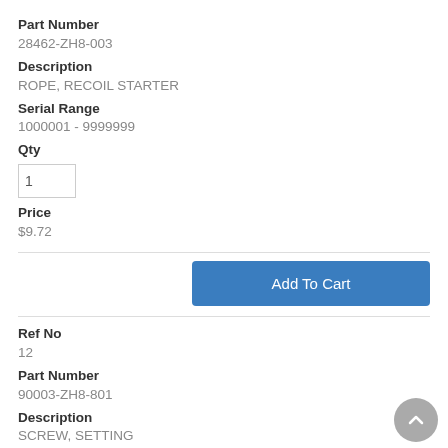Part Number
28462-ZH8-003
Description
ROPE, RECOIL STARTER
Serial Range
1000001 - 9999999
Qty
Price
$9.72
Add To Cart
Ref No
12
Part Number
90003-ZH8-801
Description
SCREW, SETTING
Serial Range
1000001 - 9999999